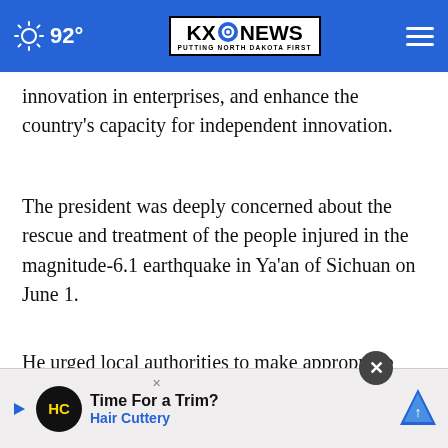KXO NEWS — PUTTING NORTH DAKOTA FIRST | 92°
innovation in enterprises, and enhance the country's capacity for independent innovation.
The president was deeply concerned about the rescue and treatment of the people injured in the magnitude-6.1 earthquake in Ya'an of Sichuan on June 1.
He urged local authorities to make appropriate arrangements for residents affected by the quake… and make plans for recovery and reconstruction.
[Figure (screenshot): Advertisement overlay for Hair Cuttery 'Time For a Trim?' with close button (X) and navigation icon]